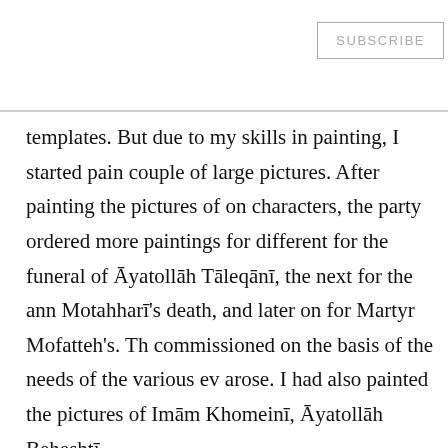☰   SUBSCRIBE
templates. But due to my skills in painting, I started pain couple of large pictures. After painting the pictures of on characters, the party ordered more paintings for different for the funeral of Āyatollāh Tāleqānī, the next for the ann Motahharī's death, and later on for Martyr Mofatteh's. Th commissioned on the basis of the needs of the various ev arose. I had also painted the pictures of Imām Khomeinī, Āyatollāh Beheshtī.
Around the end of 1980 my work place was transferred to center, in the fourth district of Khorāsān, in front of the M worked in a small room situated in the yard, and I didn't the time, I was there working on promotional activity. So transferred our workplace to a building in Adabīāt T-junc